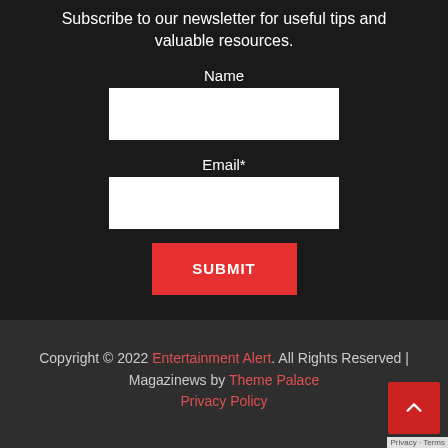Subscribe to our newsletter for useful tips and valuable resources.
Name
Email*
SUBMIT
Copyright © 2022 Entertainment Alert. All Rights Reserved | Magazinews by Theme Palace
Privacy Policy